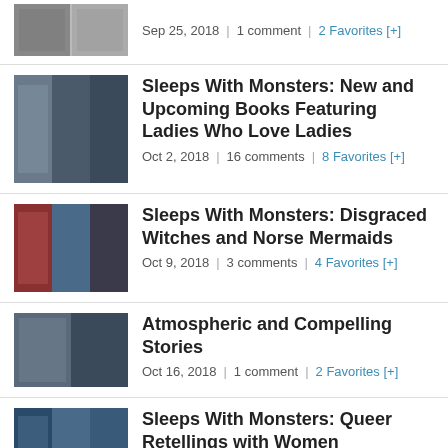Sep 25, 2018 | 1 comment | 2 Favorites [+]
Sleeps With Monsters: New and Upcoming Books Featuring Ladies Who Love Ladies
Oct 2, 2018 | 16 comments | 8 Favorites [+]
Sleeps With Monsters: Disgraced Witches and Norse Mermaids
Oct 9, 2018 | 3 comments | 4 Favorites [+]
Atmospheric and Compelling Stories
Oct 16, 2018 | 1 comment | 2 Favorites [+]
Sleeps With Monsters: Queer Retellings with Women
Oct 23, 2018 | 0 comments | 5 Favorites [+]
Brilliance and Fire